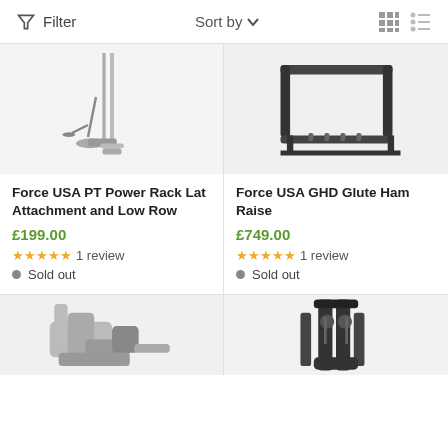Filter   Sort by   [grid view] [list view]
[Figure (photo): Force USA PT Power Rack Lat Attachment and Low Row product photo – cable machine attachment on white background]
Force USA PT Power Rack Lat Attachment and Low Row
£199.00
★★★★★ 1 review
● Sold out
[Figure (photo): Force USA GHD Glute Ham Raise product photo – dark metal frame equipment on white background]
Force USA GHD Glute Ham Raise
£749.00
★★★★★ 1 review
● Sold out
[Figure (photo): Partial product image bottom-left – gym machine, silver/grey frame]
[Figure (photo): Partial product image bottom-right – black cable/functional trainer machine]